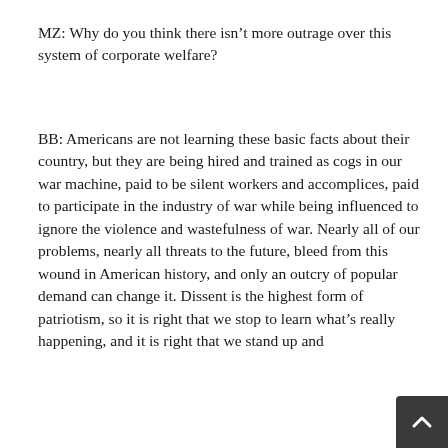MZ: Why do you think there isn't more outrage over this system of corporate welfare?
BB: Americans are not learning these basic facts about their country, but they are being hired and trained as cogs in our war machine, paid to be silent workers and accomplices, paid to participate in the industry of war while being influenced to ignore the violence and wastefulness of war. Nearly all of our problems, nearly all threats to the future, bleed from this wound in American history, and only an outcry of popular demand can change it. Dissent is the highest form of patriotism, so it is right that we stop to learn what's really happening, and it is right that we stand up and